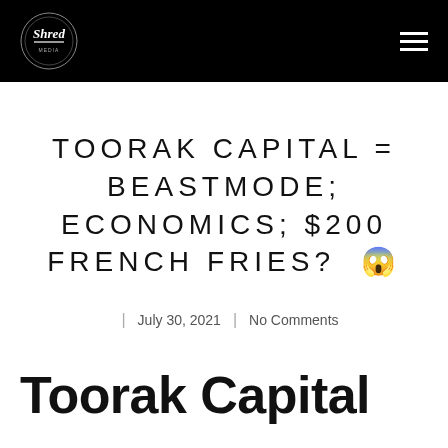Shred Media [logo] | navigation hamburger menu
TOORAK CAPITAL = BEASTMODE; ECONOMICS; $200 FRENCH FRIES? 😱
July 30, 2021 | No Comments
Toorak Capital